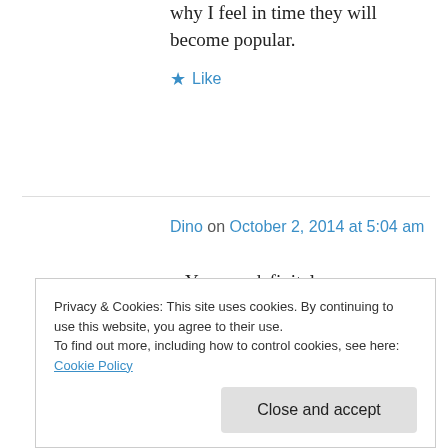why I feel in time they will become popular.
★ Like
Dino on October 2, 2014 at 5:04 am
You can definitely see your skills within the work you write.
The arena hopes for more passionate writers like you who are not afraid to mention how they believe.
Privacy & Cookies: This site uses cookies. By continuing to use this website, you agree to their use.
To find out more, including how to control cookies, see here: Cookie Policy
Close and accept
pm